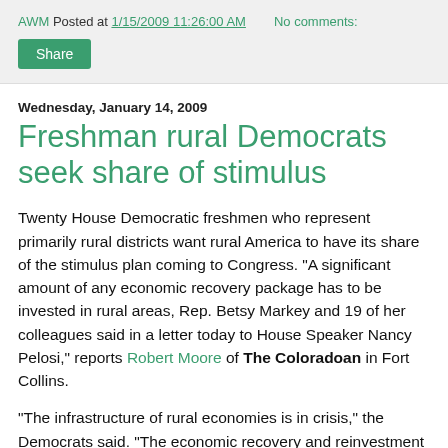AWM Posted at 1/15/2009 11:26:00 AM   No comments:
Share
Wednesday, January 14, 2009
Freshman rural Democrats seek share of stimulus
Twenty House Democratic freshmen who represent primarily rural districts want rural America to have its share of the stimulus plan coming to Congress. "A significant amount of any economic recovery package has to be invested in rural areas, Rep. Betsy Markey and 19 of her colleagues said in a letter today to House Speaker Nancy Pelosi," reports Robert Moore of The Coloradoan in Fort Collins.
"The infrastructure of rural economies is in crisis," the Democrats said. "The economic recovery and reinvestment plan must invest significantly in maintaining and upgrading